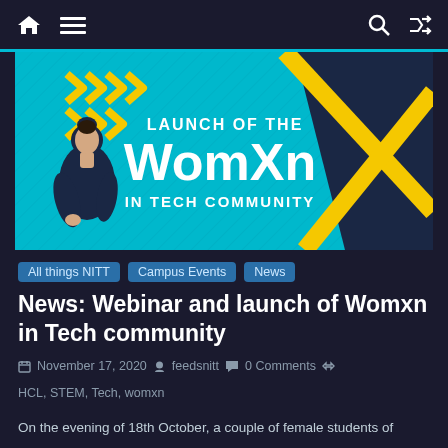Navigation bar with home icon, menu icon, search icon, shuffle icon
[Figure (illustration): Promotional banner for 'Launch of the WomXn in Tech Community' featuring teal background with yellow chevrons and X motif, silhouette of a woman in dark business attire on the left]
All things NITT
Campus Events
News
News: Webinar and launch of Womxn in Tech community
November 17, 2020   feedsnitt   0 Comments   HCL, STEM, Tech, womxn
On the evening of 18th October, a couple of female students of